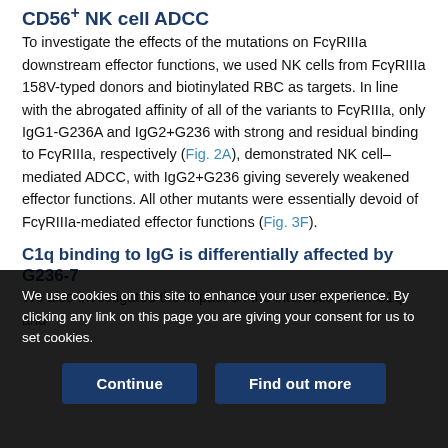CD56+ NK cell ADCC
To investigate the effects of the mutations on FcγRIIIa downstream effector functions, we used NK cells from FcγRIIIa 158V-typed donors and biotinylated RBC as targets. In line with the abrogated affinity of all of the variants to FcγRIIIa, only IgG1-G236A and IgG2+G236 with strong and residual binding to FcγRIIIa, respectively (Fig. 2A), demonstrated NK cell–mediated ADCC, with IgG2+G236 giving severely weakened effector functions. All other mutants were essentially devoid of FcγRIIIa-mediated effector functions (Fig. 3F).
C1q binding to IgG is differentially affected by G236-7
We also investigated the impact on the interaction with C1q and
We use cookies on this site to enhance your user experience. By clicking any link on this page you are giving your consent for us to set cookies.